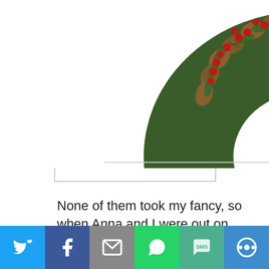[Figure (photo): Christmas wreath made of pine cones, red berries, and green leaves, partially visible at top of page, shown within a bordered white frame]
None of them took my fancy, so when Anna and I were out on Thursday, I bought a pack of baubles from Asda and some contrasting snowflake tinsel from the 99p shop (oh yes, super high end, that's me!). Got home, dug out the florist's wire I bought two years ago (I
[Figure (infographic): Social sharing toolbar at bottom with six buttons: Twitter (blue bird icon), Facebook (blue f icon), Email (grey envelope icon), WhatsApp (green phone icon), SMS (teal SMS icon), More (blue circular icon)]